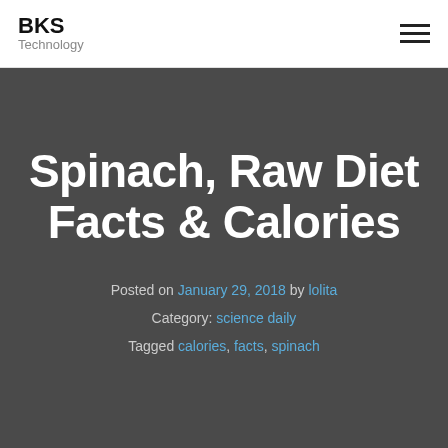BKS Technology
Spinach, Raw Diet Facts & Calories
Posted on January 29, 2018 by lolita
Category: science daily
Tagged calories, facts, spinach